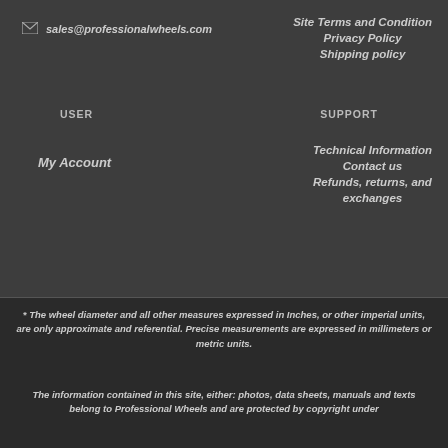✉ sales@professionalwheels.com
Site Terms and Condition
Privacy Policy
Shipping policy
USER
SUPPORT
My Account
Technical Information
Contact us
Refunds, returns, and exchanges
* The wheel diameter and all other measures expressed in Inches, or other imperial units, are only approximate and referential. Precise measurements are expressed in millimeters or metric units.
The information contained in this site, either: photos, data sheets, manuals and texts belong to Professional Wheels and are protected by copyright under